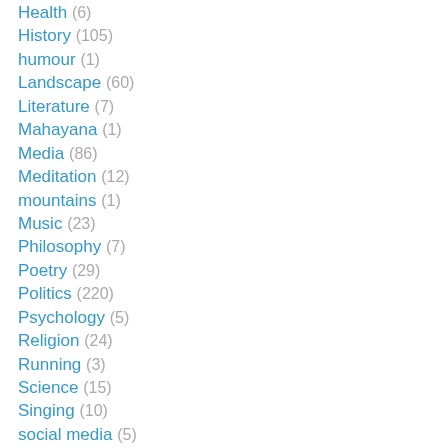Health (6)
History (105)
humour (1)
Landscape (60)
Literature (7)
Mahayana (1)
Media (86)
Meditation (12)
mountains (1)
Music (23)
Philosophy (7)
Poetry (29)
Politics (220)
Psychology (5)
Religion (24)
Running (3)
Science (15)
Singing (10)
social media (5)
Society (68)